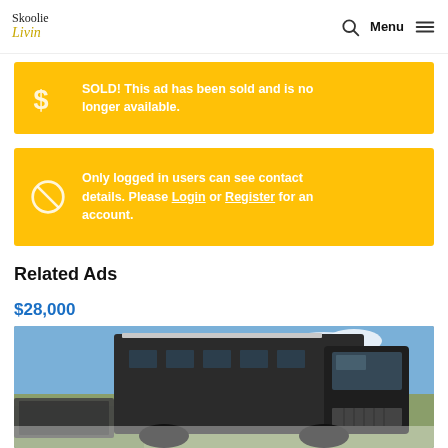Skoolie Livin — Menu
SOLD! This ad has been sold and is no longer available.
Only logged in users can see contact details. Please Login or Register for an account.
Related Ads
$28,000
[Figure (photo): Black school bus (skoolie) photographed from the front-right angle in a rural setting with blue sky and clouds.]